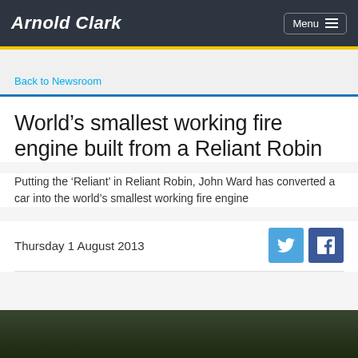Arnold Clark — Menu
Back to Newsroom
World's smallest working fire engine built from a Reliant Robin
Putting the 'Reliant' in Reliant Robin, John Ward has converted a car into the world's smallest working fire engine
Thursday 1 August 2013
[Figure (photo): Dark outdoor photograph, bottom of page, partially visible]